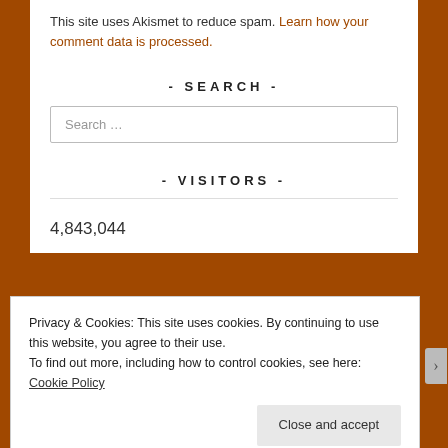This site uses Akismet to reduce spam. Learn how your comment data is processed.
- SEARCH -
Search …
- VISITORS -
4,843,044
Privacy & Cookies: This site uses cookies. By continuing to use this website, you agree to their use. To find out more, including how to control cookies, see here: Cookie Policy
Close and accept